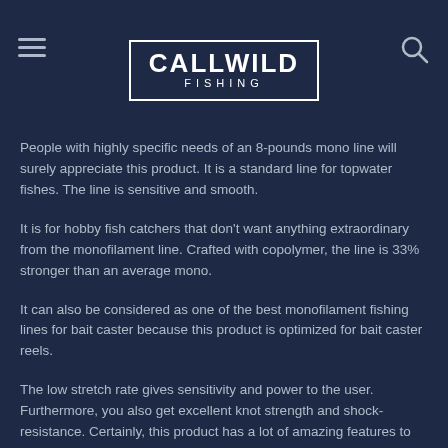CALLWILD FISHING
People with highly specific needs of an 8-pounds mono line will surely appreciate this product. It is a standard line for topwater fishes. The line is sensitive and smooth.
It is for hobby fish catchers that don't want anything extraordinary from the monofilament line. Crafted with copolymer, the line is 33% stronger than an average mono.
It can also be considered as one of the best monofilament fishing lines for bait caster because this product is optimized for bait caster reels.
The low stretch rate gives sensitivity and power to the user. Furthermore, you also get excellent knot strength and shock-resistance. Certainly, this product has a lot of amazing features to offer but the length of 300-meters is